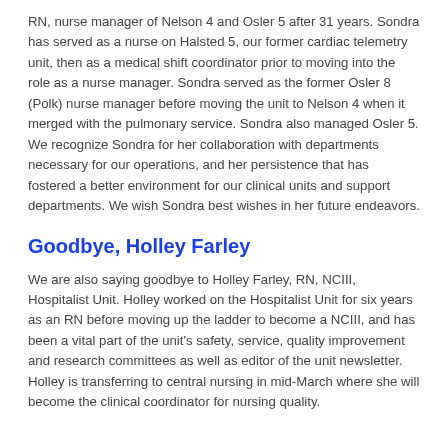RN, nurse manager of Nelson 4 and Osler 5 after 31 years. Sondra has served as a nurse on Halsted 5, our former cardiac telemetry unit, then as a medical shift coordinator prior to moving into the role as a nurse manager. Sondra served as the former Osler 8 (Polk) nurse manager before moving the unit to Nelson 4 when it merged with the pulmonary service. Sondra also managed Osler 5. We recognize Sondra for her collaboration with departments necessary for our operations, and her persistence that has fostered a better environment for our clinical units and support departments. We wish Sondra best wishes in her future endeavors.
Goodbye, Holley Farley
We are also saying goodbye to Holley Farley, RN, NCIII, Hospitalist Unit. Holley worked on the Hospitalist Unit for six years as an RN before moving up the ladder to become a NCIII, and has been a vital part of the unit's safety, service, quality improvement and research committees as well as editor of the unit newsletter. Holley is transferring to central nursing in mid-March where she will become the clinical coordinator for nursing quality.